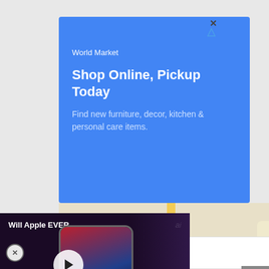[Figure (screenshot): Blue advertisement banner for World Market with text 'Shop Online, Pickup Today. Find new furniture, decor, kitchen & personal care items.']
[Figure (map): Google Maps screenshot showing Dulles Town Center area with Nokes Blvd visible]
[Figure (screenshot): Video player overlay showing 'Will Apple EVER ...' with play button and phone mockup, dark purple background, 'ai' badge in top right]
TISEMENT
[Figure (screenshot): Bottom advertisement for Topgolf® - Family Fun with Topgolf logo and blue diamond navigation arrow]